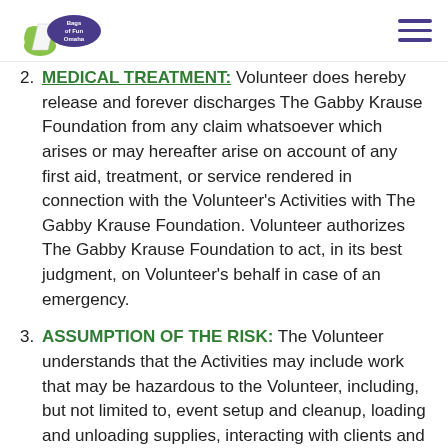Bags of Fun Omaha [logo + hamburger menu]
2. MEDICAL TREATMENT: Volunteer does hereby release and forever discharges The Gabby Krause Foundation from any claim whatsoever which arises or may hereafter arise on account of any first aid, treatment, or service rendered in connection with the Volunteer's Activities with The Gabby Krause Foundation. Volunteer authorizes The Gabby Krause Foundation to act, in its best judgment, on Volunteer's behalf in case of an emergency.
3. ASSUMPTION OF THE RISK: The Volunteer understands that the Activities may include work that may be hazardous to the Volunteer, including, but not limited to, event setup and cleanup, loading and unloading supplies, interacting with clients and providing clerical support in The Gabby Krause Foundation offices. Volunteer hereby expressly and specifically assumes the risk of injury or harm in the Activities and releases The Gabby Krause Foundation from